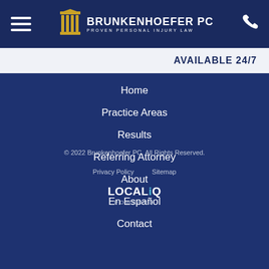BRUNKENHOEFER PC PROVEN PERSONAL INJURY LAW
AVAILABLE 24/7
Home
Practice Areas
Results
Referring Attorney
About
En Español
Contact
© 2022 Brunkenhoefer PC. All Rights Reserved.
Privacy Policy   Sitemap
LOCALiQ POWERED